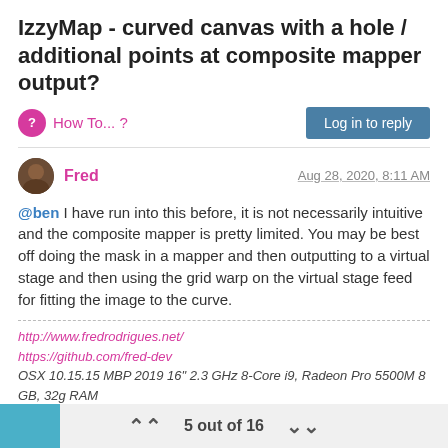IzzyMap - curved canvas with a hole / additional points at composite mapper output?
How To... ?
Log in to reply
Fred  Aug 28, 2020, 8:11 AM
@ben I have run into this before, it is not necessarily intuitive and the composite mapper is pretty limited. You may be best off doing the mask in a mapper and then outputting to a virtual stage and then using the grid warp on the virtual stage feed for fitting the image to the curve.
http://www.fredrodrigues.net/
https://github.com/fred-dev
OSX 10.15.15 MBP 2019 16" 2.3 GHz 8-Core i9, Radeon Pro 5500M 8 GB, 32g RAM
Windows 10 7700K, GTX 1080ti, 32g RAM, 2tb raided SSD
Windows 10 Threadripper 3960x 64g ram, 1tb NVME, rtx 2080ti + rtx2070 super
5 out of 16